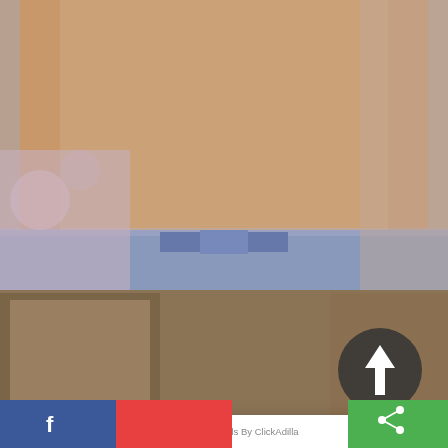[Figure (screenshot): Screenshot of a webpage showing adult content with an ad overlay popup from ClickAdilla advertising 'Indian hot bhabhi Ki chudai - Exclusive Asian Xxx videos free'. The popup contains a thumbnail image and a video preview. At the bottom are social sharing buttons including Facebook (blue) and a share icon (green). The page shows '2j5' text in the bottom right area of the popup.]